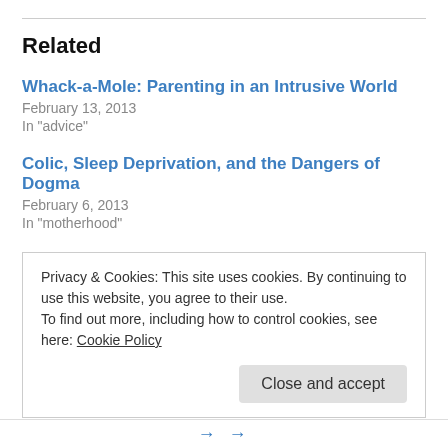Related
Whack-a-Mole: Parenting in an Intrusive World
February 13, 2013
In "advice"
Colic, Sleep Deprivation, and the Dangers of Dogma
February 6, 2013
In "motherhood"
Welcome to Our House of Filth
April 11, 2013
In "humor"
Privacy & Cookies: This site uses cookies. By continuing to use this website, you agree to their use.
To find out more, including how to control cookies, see here: Cookie Policy
Close and accept